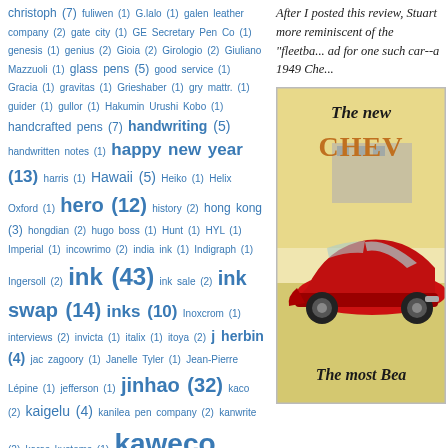christoph (7) fuliwen (1) G.lalo (1) galen leather company (2) gate city (1) GE Secretary Pen Co (1) genesis (1) genius (2) Gioia (2) Girologio (2) Giuliano Mazzuoli (1) glass pens (5) good service (1) Gracia (1) gravitas (1) Grieshaber (1) gry mattr. (1) guider (1) gullor (1) Hakumin Urushi Kobo (1) handcrafted pens (7) handwriting (5) handwritten notes (1) happy new year (13) harris (1) Hawaii (5) Heiko (1) Helix Oxford (1) hero (12) history (2) hong kong (3) hongdian (2) hugo boss (1) Hunt (1) HYL (1) Imperial (1) incowrimo (2) india ink (1) Indigraph (1) Ingersoll (2) ink (43) ink sale (2) ink swap (14) inks (10) Inoxcrom (1) interviews (2) invicta (1) italix (1) itoya (2) j herbin (4) jac zagoory (1) Janelle Tyler (1) Jean-Pierre Lépine (1) jefferson (1) jinhao (32) kaco (2) kaigelu (4) kanilea pen company (2) kanwrite (2) karas kustoms (1) kaweco (37) ken cavers pens (1) kokuyo (1) Kosca (2) krone (1) kullock (2) kwz (2) kyo-no-oto (2) laban (11) Lamy (66) Lamy Safari (10) lanbitou (5) laurige (2) laurin (1) lead holders (1) lecai (3) legrip (1) leonardo officina italiana (16) Leuchtturm (2) Levenger (8) Libelle (1) lingmo (1) londo design (1) london pen club (4) london pen company (2) lonely planet (1) long march (1)
After I posted this review, Stuart more reminiscent of the "fleetba... ad for one such car--a 1949 Che...
[Figure (illustration): Vintage 1949 Chevrolet car advertisement showing a red fastback/fleetline car with text 'The new CHEVY' at the top and 'The most Bea...' at the bottom, cream/yellow background with a building visible behind the car.]